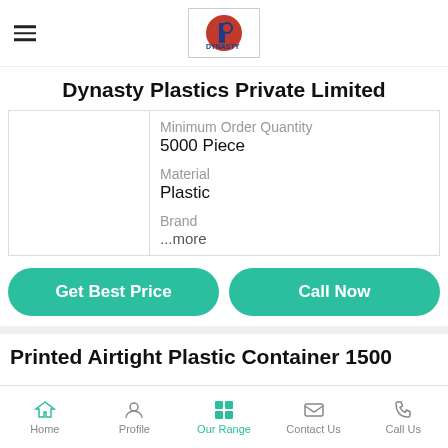Dynasty Plastics Private Limited
Dynasty Plastics Private Limited
Minimum Order Quantity
5000 Piece

Material
Plastic

Brand
...more
Get Best Price
Call Now
Printed Airtight Plastic Container 1500
Home  Profile  Our Range  Contact Us  Call Us